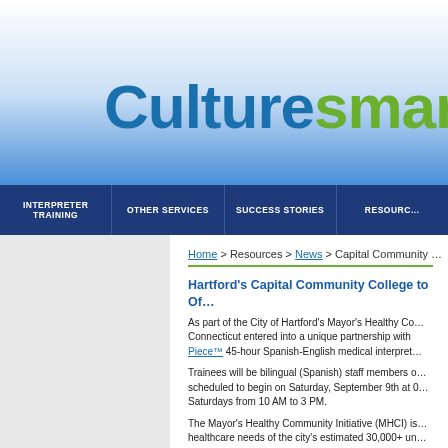[Figure (logo): Culturesmart logo with trademark symbol — 'Culture' in blue, 'smart' in green]
INTERPRETER TRAINING | OTHER SERVICES | SUCCESS STORIES | RESOURC…
Home > Resources > News > Capital Community …
Hartford's Capital Community College to Of…
As part of the City of Hartford's Mayor's Healthy Co… Connecticut entered into a unique partnership with C… Piece™ 45-hour Spanish-English medical interpret…
Trainees will be bilingual (Spanish) staff members o… scheduled to begin on Saturday, September 9th at 0… Saturdays from 10 AM to 3 PM.
The Mayor's Healthy Community Initiative (MHCI) is… healthcare needs of the city's estimated 30,000+ un… with the city's major hospitals and clinics to impleme…
Create a common, shared medical informati… coordinate healthcare services that the city's…